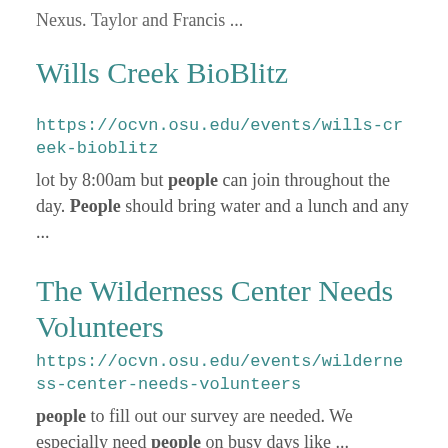Nexus. Taylor and Francis ...
Wills Creek BioBlitz
https://ocvn.osu.edu/events/wills-creek-bioblitz
lot by 8:00am but people can join throughout the day. People should bring water and a lunch and any ...
The Wilderness Center Needs Volunteers
https://ocvn.osu.edu/events/wilderness-center-needs-volunteers
people to fill out our survey are needed. We especially need people on busy days like ...